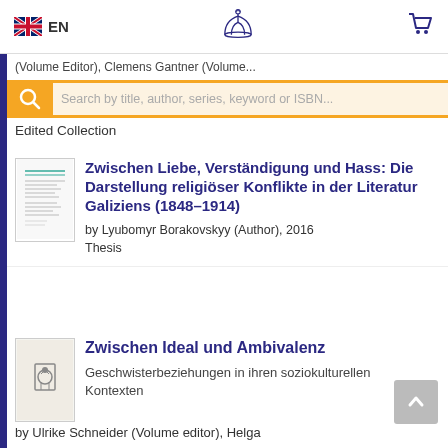EN — [logo] — [cart]
(Volume Editor), Clemens Gantner (Volume...
Search by title, author, series, keyword or ISBN...
Edited Collection
Zwischen Liebe, Verständigung und Hass: Die Darstellung religiöser Konflikte in der Literatur Galiziens (1848–1914)
by Lyubomyr Borakovskyy (Author), 2016
Thesis
Zwischen Ideal und Ambivalenz
Geschwisterbeziehungen in ihren soziokulturellen Kontexten
by Ulrike Schneider (Volume editor), Helga